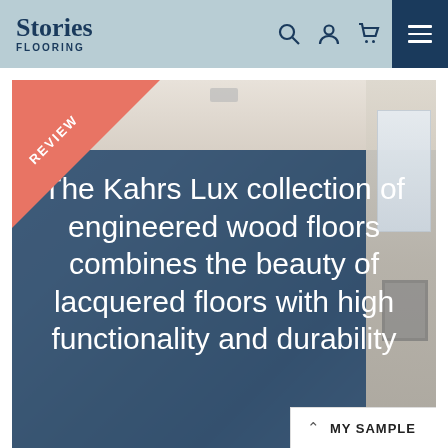Stories Flooring
[Figure (photo): Screenshot of Stories Flooring website showing a hero banner with a review ribbon in salmon/coral color, a room interior photo with a dark blue overlay, and large white text reading 'The Kahrs Lux collection of engineered wood floors combines the beauty of lacquered floors with high functionality and durability'. A 'MY SAMPLE' button appears at the bottom right.]
The Kahrs Lux collection of engineered wood floors combines the beauty of lacquered floors with high functionality and durability